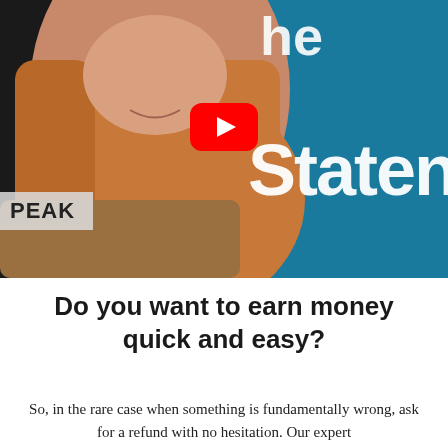[Figure (screenshot): YouTube video thumbnail showing a woman with long blonde hair, a YouTube play button icon in the center-top area, large white text 'Staten' partially visible on the right side over a teal background, and a 'PEAK' label overlay in the bottom-left corner.]
Do you want to earn money quick and easy?
So, in the rare case when something is fundamentally wrong, ask for a refund with no hesitation. Our expert